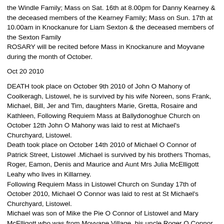the Windle Family; Mass on Sat. 16th at 8.00pm for Danny Kearney & the deceased members of the Kearney Family; Mass on Sun. 17th at 10.00am in Knockanure for Liam Sexton & the deceased members of the Sexton Family
ROSARY will be recited before Mass in Knockanure and Moyvane during the month of October.
Oct 20 2010
DEATH took place on October 9th 2010 of John O Mahony of Coolkeragh, Listowel, he is survived by his wife Noreen, sons Frank, Michael, Bill, Jer and Tim, daughters Marie, Gretta, Rosaire and Kathleen, Following Requiem Mass at Ballydonoghue Church on October 12th John O Mahony was laid to rest at Michael's Churchyard, Listowel.
Death took place on October 14th 2010 of Michael O Connor of Patrick Street, Listowel .Michael is survived by his brothers Thomas, Roger, Eamon, Denis and Maurice and Aunt Mrs Julia McElligott Leahy who lives in Killarney.
Following Requiem Mass in Listowel Church on Sunday 17th of October 2010, Michael O Connor was laid to rest at St Michael's Churchyard, Listowel.
Michael was son of Mike the Pie O Connor of Listowel and Mary McElligott who was from Moyvane Village, his uncle Roger O Connor was a well known doctor at Tarbert.
DEATH to place at Livermore in San Francisco on October 3rd 2010 of Pat Furlong a native of Dublin and husband of Joan Fitzmaurice of Coilagurteen, Knockanure, they were married for 49 years, they have one son Brian born 1962. Pat and Joan moved to the Bay Area in 1961. Mass for Patrick Furlong was celebrated at Our Lady of Lourdes Church 2808 Lakeshore Avenue, Oakland CA on Friday October 8th 2010. His siblings Nuala,